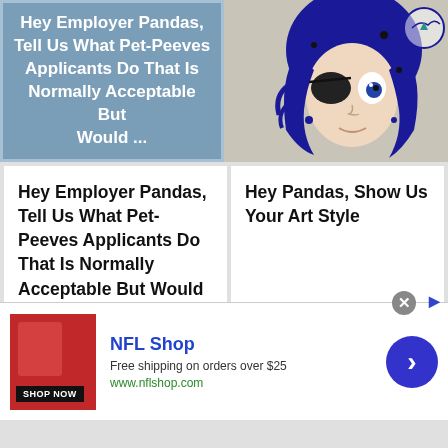Hey Employer Pandas, Tell Us What Pet-Peeves Applicants Do That Is Normally Acceptable But Would ...
[Figure (illustration): Hand-drawn anime-style character with blue hair, large eyes, wearing an eyepatch, decorated with doodles and a bird/arrow logo]
Hey Employer Pandas, Tell Us What Pet-Peeves Applicants Do That Is Normally Acceptable But Would Dissuade You From Hiring?
Hey Pandas, Show Us Your Art Style
[Figure (photo): Red background with a cat and what appears to be a dark circular object]
[Figure (other): Light teal/cyan colored card]
NFL Shop
Free shipping on orders over $25
www.nflshop.com
SHOP NOW